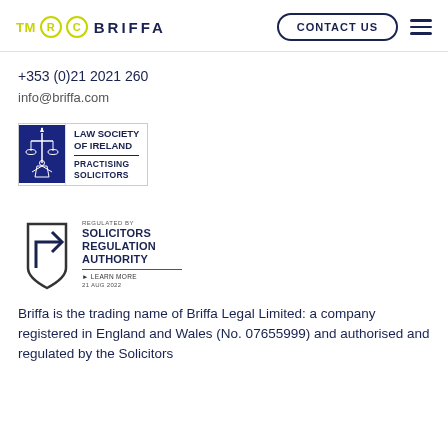TM ® © BRIFFA | CONTACT US
+353 (0)21 2021 260
info@briffa.com
[Figure (logo): Law Society of Ireland – Practising Solicitors badge with blue panel showing justice figure and scales]
[Figure (logo): Regulated by Solicitors Regulation Authority badge with SRA shield logo, Learn More link, dated 21 AUG 2022]
Briffa is the trading name of Briffa Legal Limited: a company registered in England and Wales (No. 07655999) and authorised and regulated by the Solicitors